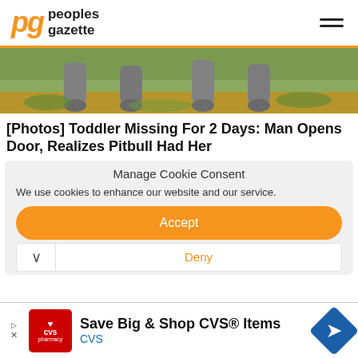peoples gazette
[Figure (photo): Close-up photo of dog legs/paws on grass and soil ground]
[Photos] Toddler Missing For 2 Days: Man Opens Door, Realizes Pitbull Had Her
Manage Cookie Consent
We use cookies to enhance our website and our service.
Accept
Deny
Save Big & Shop CVS® Items
CVS